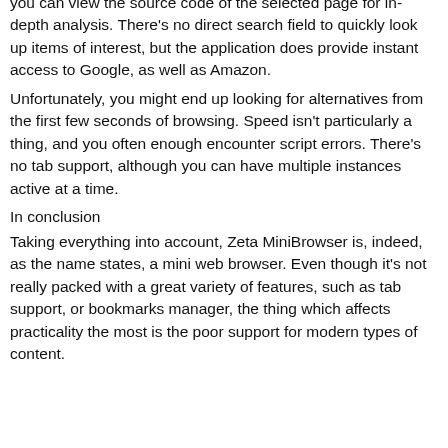you can view the source code of the selected page for in-depth analysis. There's no direct search field to quickly look up items of interest, but the application does provide instant access to Google, as well as Amazon.
Unfortunately, you might end up looking for alternatives from the first few seconds of browsing. Speed isn't particularly a thing, and you often enough encounter script errors. There's no tab support, although you can have multiple instances active at a time.
In conclusion
Taking everything into account, Zeta MiniBrowser is, indeed, as the name states, a mini web browser. Even though it's not really packed with a great variety of features, such as tab support, or bookmarks manager, the thing which affects practicality the most is the poor support for modern types of content.